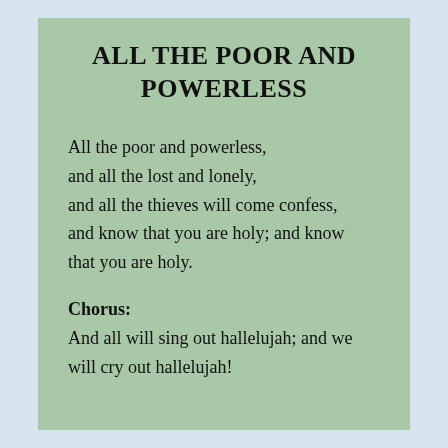ALL THE POOR AND POWERLESS
All the poor and powerless,
and all the lost and lonely,
and all the thieves will come confess,
and know that you are holy; and know that you are holy.
Chorus:
And all will sing out hallelujah; and we will cry out hallelujah!